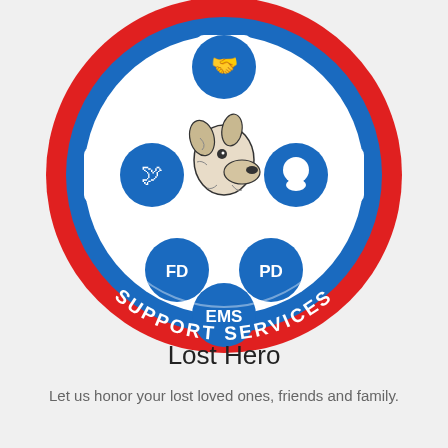[Figure (logo): Circular logo with red outer ring, blue inner ring, and white cross/star of life shape in center. Features a dog (collie/shepherd) head illustration in the center. Blue circles contain icons: a hand/wrench at top, a bird at left, a head silhouette at right, text 'FD' at lower-left, 'PD' at lower-right, 'EMS' at bottom. Text 'SUPPORT SERVICES' arcs along the bottom of the red ring in white letters.]
Lost Hero
Let us honor your lost loved ones, friends and family.